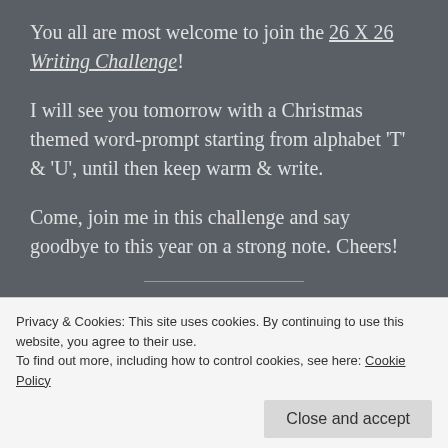You all are most welcome to join the 26 X 26 Writing Challenge!
I will see you tomorrow with a Christmas themed word-prompt starting from alphabet 'T' & 'U', until then keep warm & write.
Come, join me in this challenge and say goodbye to this year on a strong note. Cheers!
Privacy & Cookies: This site uses cookies. By continuing to use this website, you agree to their use.
To find out more, including how to control cookies, see here: Cookie Policy
Close and accept
reserved.